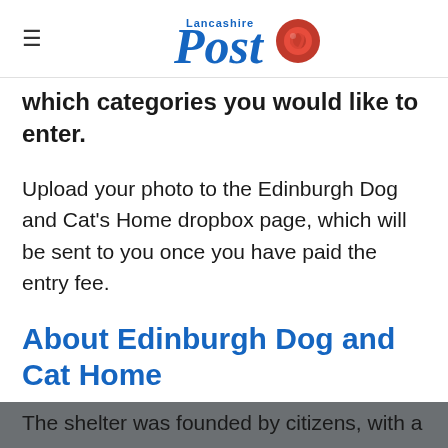Lancashire Post
which categories you would like to enter.
Upload your photo to the Edinburgh Dog and Cat's Home dropbox page, which will be sent to you once you have paid the entry fee.
About Edinburgh Dog and Cat Home
This charity has been welcoming lost or abandoned pets from all corners of Edinburgh and the Lothians since 1883.
The shelter was founded by citizens, with a